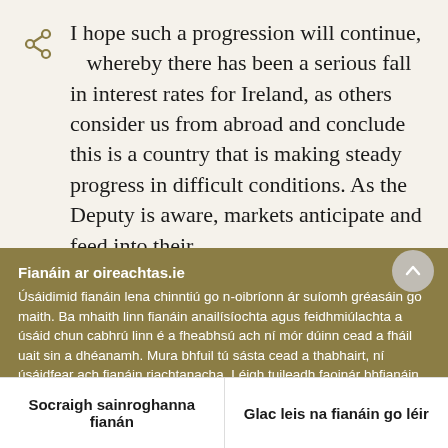I hope such a progression will continue, whereby there has been a serious fall in interest rates for Ireland, as others consider us from abroad and conclude this is a country that is making steady progress in difficult conditions. As the Deputy is aware, markets anticipate and feed into their interest rate decisions the main economic i...
Fianáin ar oireachtas.ie
Úsáidimid fianáin lena chinntiú go n-oibríonn ár suíomh gréasáin go maith. Ba mhaith linn fianáin anailísíochta agus feidhmiúlachta a úsáid chun cabhrú linn é a fheabhsú ach ní mór dúinn cead a fháil uait sin a dhéanamh. Mura bhfuil tú sásta cead a thabhairt, ní úsáidfear ach fianáin riachtanacha. Léigh tuileadh faoinár bhfianáin
Socraigh sainroghanna fianán
Glac leis na fianáin go léir